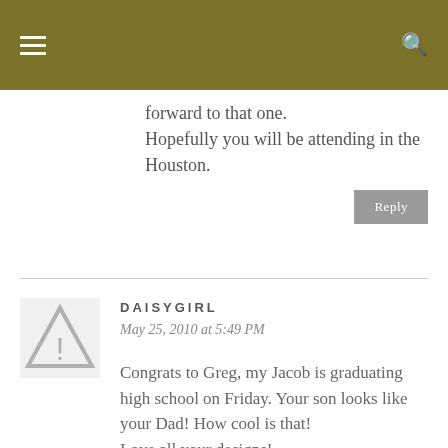forward to that one. Hopefully you will be attending in the Houston.
Reply
DAISYGIRL
May 25, 2010 at 5:49 PM
Congrats to Greg, my Jacob is graduating high school on Friday. Your son looks like your Dad! How cool is that!
Love all your designs!
DaisyGirl